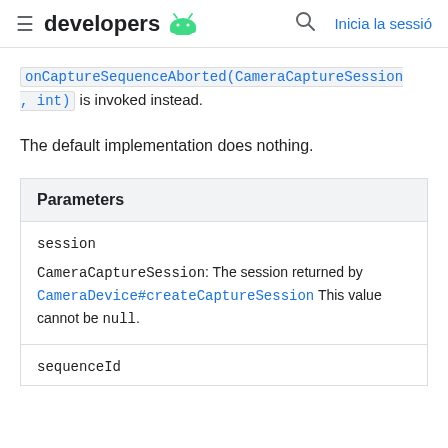developers [android logo] | [search icon] Inicia la sessió
onCaptureSequenceAborted(CameraCaptureSession, int) is invoked instead.
The default implementation does nothing.
| Parameters |
| --- |
| session | CameraCaptureSession: The session returned by CameraDevice#createCaptureSession This value cannot be null. |
| sequenceId |  |